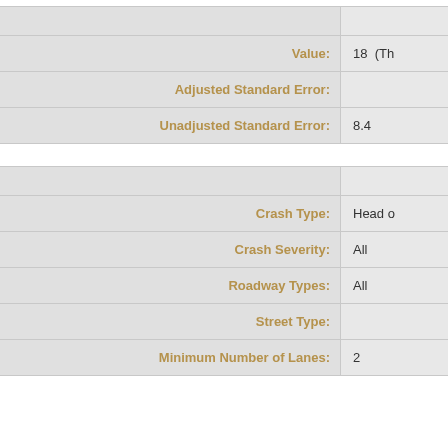| Field | Value |
| --- | --- |
|  |  |
| Value: | 18  (Th... |
| Adjusted Standard Error: |  |
| Unadjusted Standard Error: | 8.4 |
| Field | Value |
| --- | --- |
|  |  |
| Crash Type: | Head o... |
| Crash Severity: | All |
| Roadway Types: | All |
| Street Type: |  |
| Minimum Number of Lanes: | 2 |